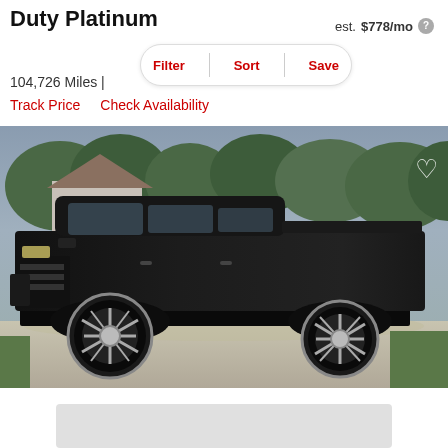Duty Platinum
est. $778/mo
104,726 Miles |
Filter  Sort  Save
Track Price    Check Availability
[Figure (photo): Black lifted Ford F-250 Super Duty Platinum truck with large chrome wheels, parked on a driveway, trees and house in background]